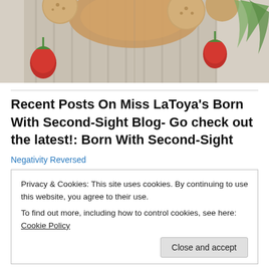[Figure (photo): Food photo showing oatmeal cookies, strawberries, a wooden cutting board, and green leaves on a striped cloth]
Recent Posts On Miss LaToya's Born With Second-Sight Blog- Go check out the latest!: Born With Second-Sight
Negativity Reversed
Privacy & Cookies: This site uses cookies. By continuing to use this website, you agree to their use.
To find out more, including how to control cookies, see here: Cookie Policy
Close and accept